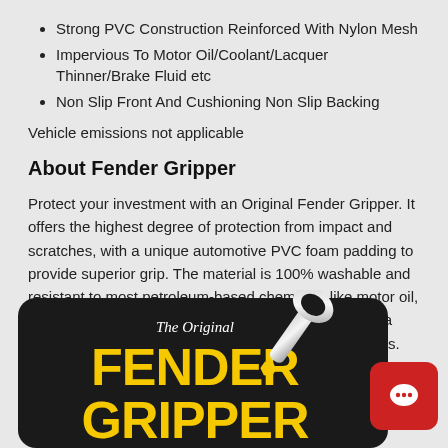Strong PVC Construction Reinforced With Nylon Mesh
Impervious To Motor Oil/Coolant/Lacquer Thinner/Brake Fluid etc
Non Slip Front And Cushioning Non Slip Backing
Vehicle emissions not applicable
About Fender Gripper
Protect your investment with an Original Fender Gripper. It offers the highest degree of protection from impact and scratches, with a unique automotive PVC foam padding to provide superior grip. The material is 100% washable and resistant to most petroleum-based chemicals like motor oil, carb cleaner, brake fluid, and anti-freeze. Available in a large variety of officially licensed automotive logo styles.
[Figure (logo): Fender Gripper product logo on black rounded rectangle background with wrench graphic, text reading 'The Original FENDER GRIPPER' in yellow lettering]